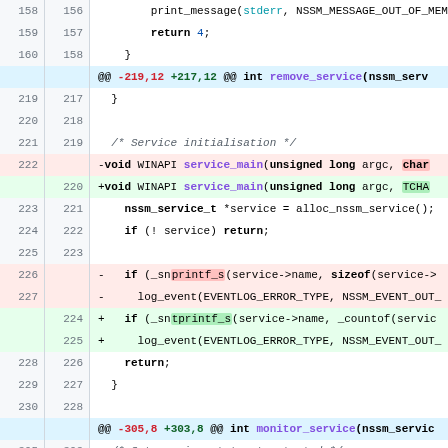[Figure (screenshot): Code diff view showing changes to a C/C++ source file. Lines 158-306 are visible with old and new line numbers, showing modifications to service_main function signature (char to TCHAR) and _snprintf_s to _sntprintf_s with sizeof to _countof changes.]